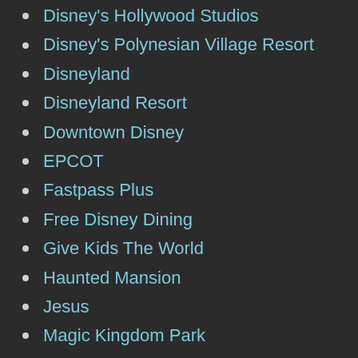Disney's Hollywood Studios
Disney's Polynesian Village Resort
Disneyland
Disneyland Resort
Downtown Disney
EPCOT
Fastpass Plus
Free Disney Dining
Give Kids The World
Haunted Mansion
Jesus
Magic Kingdom Park
Magical Starr Travel
MagicBands
Main Street Electrical Parade
Movie Review
My Disney Experience